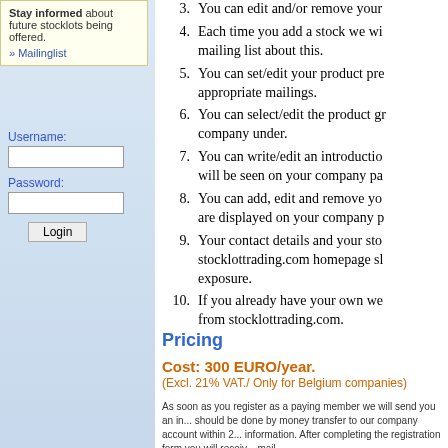Stay informed about future stocklots being offered.
>> Mailinglist
Username:
Password:
Login
3. You can edit and/or remove your...
4. Each time you add a stock we wi... mailing list about this.
5. You can set/edit your product pre... appropriate mailings.
6. You can select/edit the product gr... company under.
7. You can write/edit an introductio... will be seen on your company pa...
8. You can add, edit and remove yo... are displayed on your company p...
9. Your contact details and your sto... stocklottrading.com homepage sh... exposure.
10. If you already have your own we... from stocklottrading.com.
Pricing
Cost: 300 EURO/year.
(Excl. 21% VAT./ Only for Belgium companies)
As soon as you register as a paying member we will send you an in... should be done by money transfer to our company account within 2... information. After completing the registration form you will receiv... mail.